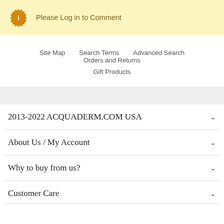Please Log in to Comment
Site Map   Search Terms   Advanced Search   Orders and Returns   Gift Products
2013-2022 ACQUADERM.COM USA
About Us / My Account
Why to buy from us?
Customer Care